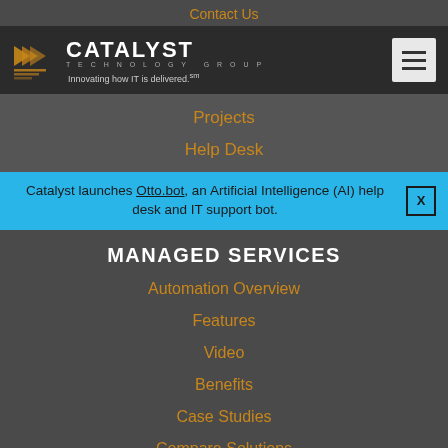Contact Us
[Figure (logo): Catalyst Technology Group logo with orange arrow icon and tagline: Innovating how IT is delivered.]
Projects
Help Desk
Catalyst launches Otto.bot, an Artificial Intelligence (AI) help desk and IT support bot. X
MANAGED SERVICES
Automation Overview
Features
Video
Benefits
Case Studies
Compare Solutions
CLOUD INFRASTRUCTURE